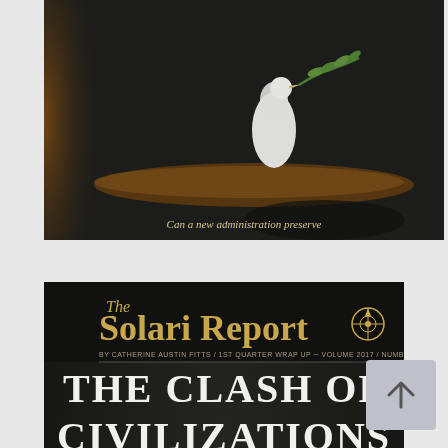[Figure (photo): Partial/cropped top view of The Solari Report magazine cover showing a white dove on a branch with olive branch, dark background, partial text 'Can a new administration preserve']
[Figure (photo): The Solari Report magazine cover. Title: 'The Solari Report' with compass logo. Subtitle: 'BY CATHERINE AUSTIN FITTS / 1ST QUARTER WRAP UP / VOLUME 2017 / NUMBER TWO'. Main headline: 'THE CLASH OF CIVILIZATIONS'. Image: white dove holding olive branch perched on driftwood, dark background with shadow.]
[Figure (other): Scroll-to-top button with upward arrow chevron icon]